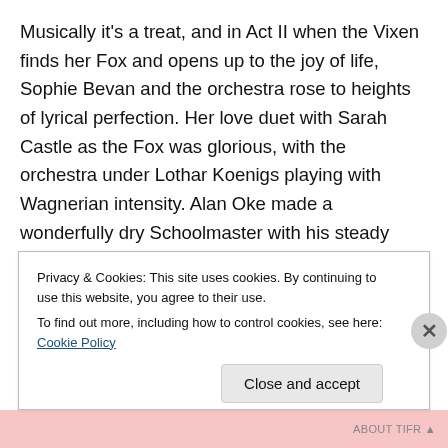Musically it's a treat, and in Act II when the Vixen finds her Fox and opens up to the joy of life, Sophie Bevan and the orchestra rose to heights of lyrical perfection. Her love duet with Sarah Castle as the Fox was glorious, with the orchestra under Lothar Koenigs playing with Wagnerian intensity. Alan Oke made a wonderfully dry Schoolmaster with his steady melancholy, David Stout was very effective in his Act III appearance as the poacher, and Jonathan Summers was full of character and vocal assurance as the Forester. As the opera ended I wished for more intensity in the...
Privacy & Cookies: This site uses cookies. By continuing to use this website, you agree to their use.
To find out more, including how to control cookies, see here: Cookie Policy
Close and accept